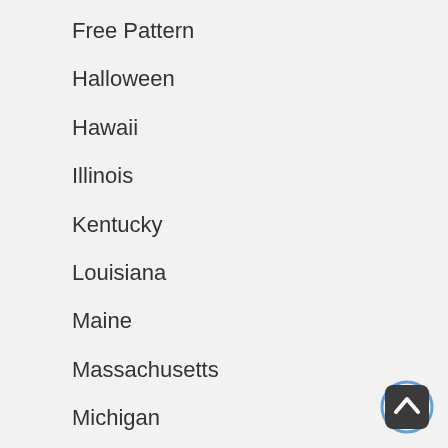Free Pattern
Halloween
Hawaii
Illinois
Kentucky
Louisiana
Maine
Massachusetts
Michigan
Midnight Moon QAL
[Figure (other): Back to top button — dark rounded square with upward chevron arrow and blue ring accent]